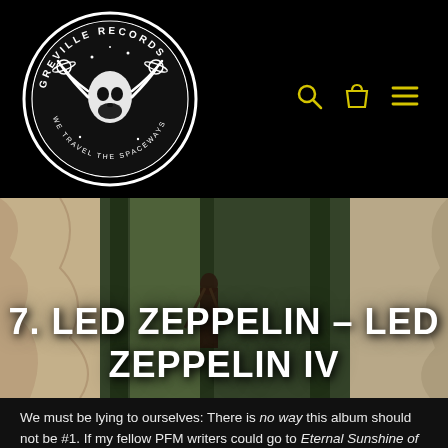[Figure (logo): Greville Records circular logo — black and white illustration of a cosmic/space themed skull with tentacles and planets, ringed text reading 'GREVILLE RECORDS' and 'WE TRAVEL THE SPACEWAYS']
[Figure (photo): Led Zeppelin IV album cover art showing a figure carrying sticks against a green outdoor backdrop, with aged peeling wall texture on left and right sides]
7. Led Zeppelin – Led Zeppelin IV
We must be lying to ourselves: There is no way this album should not be #1. If my fellow PFM writers could go to Eternal Sunshine of the Spotless Mind's memory-erasure clinic and